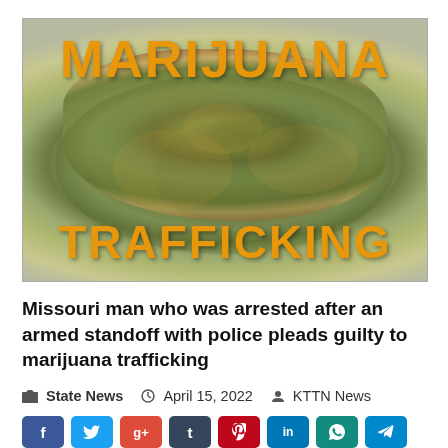[Figure (photo): Marijuana bud close-up photo with text overlay reading MARIJUANA at top and TRAFFICKING at bottom in orange bold letters on gray background]
Missouri man who was arrested after an armed standoff with police pleads guilty to marijuana trafficking
State News   April 15, 2022   KTTN News